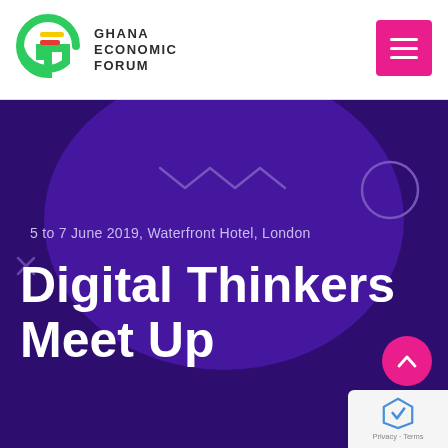[Figure (logo): Ghana Economic Forum logo — green G with yellow and red horizontal stripes inside, next to text GHANA ECONOMIC FORUM in dark grey uppercase]
[Figure (screenshot): Pink hamburger menu button (three horizontal white lines on magenta/pink background)]
[Figure (illustration): Dark purple hero banner with decorative zigzag lines, circle outline, X mark, and large purple blob ellipse in background]
5 to 7 June 2019, Waterfront Hotel, London
Digital Thinkers Meet Up